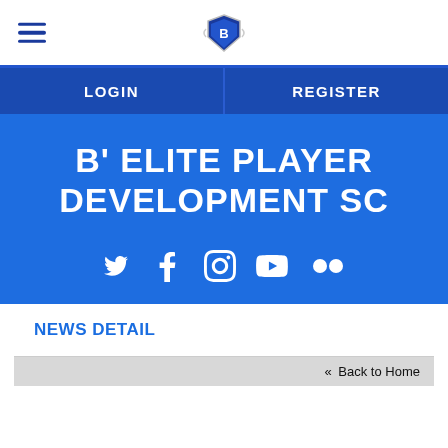B' Elite Player Development SC — site navigation header with hamburger menu and logo
LOGIN
REGISTER
B' ELITE PLAYER DEVELOPMENT SC
[Figure (infographic): Social media icons row: Twitter, Facebook, Instagram, YouTube, Flickr]
NEWS DETAIL
« Back to Home